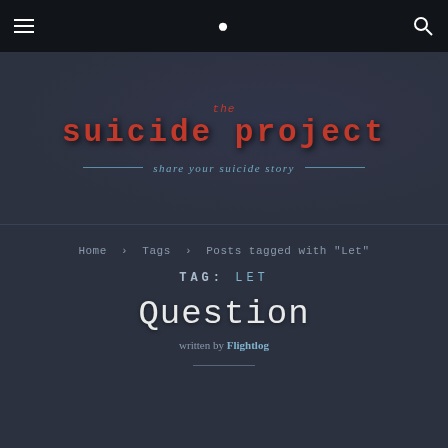The Suicide Project — share your suicide story
Home › Tags › Posts tagged with "Let"
TAG: LET
Question
written by Flightlog